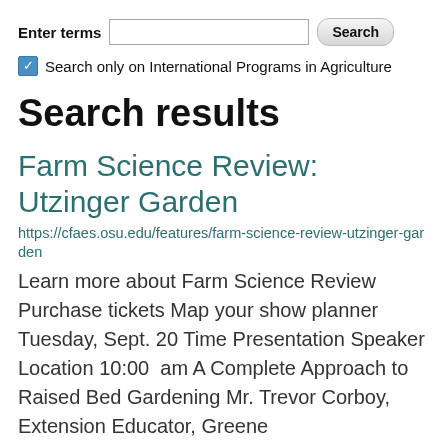Enter terms [search input] Search
Search only on International Programs in Agriculture
Search results
Farm Science Review: Utzinger Garden
https://cfaes.osu.edu/features/farm-science-review-utzinger-garden
Learn more about Farm Science Review Purchase tickets Map your show planner Tuesday, Sept. 20 Time Presentation Speaker Location 10:00  am A Complete Approach to Raised Bed Gardening Mr. Trevor Corboy, Extension Educator, Greene